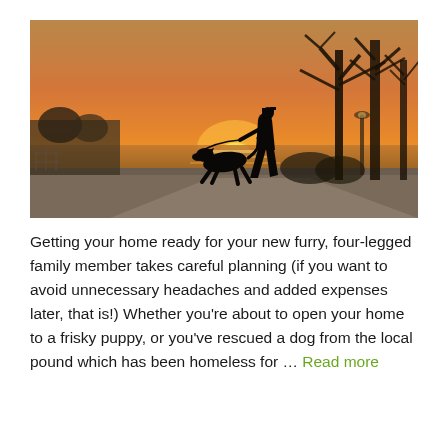[Figure (photo): Silhouette of a person walking a large dog along a waterfront path at sunset, with bare trees in the background and warm orange sky reflecting on the water.]
Getting your home ready for your new furry, four-legged family member takes careful planning (if you want to avoid unnecessary headaches and added expenses later, that is!) Whether you're about to open your home to a frisky puppy, or you've rescued a dog from the local pound which has been homeless for … Read more